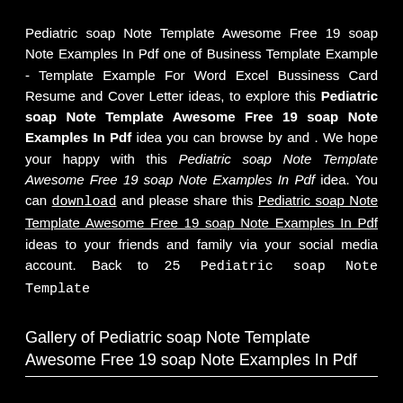Pediatric soap Note Template Awesome Free 19 soap Note Examples In Pdf one of Business Template Example - Template Example For Word Excel Bussiness Card Resume and Cover Letter ideas, to explore this Pediatric soap Note Template Awesome Free 19 soap Note Examples In Pdf idea you can browse by and . We hope your happy with this Pediatric soap Note Template Awesome Free 19 soap Note Examples In Pdf idea. You can download and please share this Pediatric soap Note Template Awesome Free 19 soap Note Examples In Pdf ideas to your friends and family via your social media account. Back to 25 Pediatric soap Note Template
Gallery of Pediatric soap Note Template Awesome Free 19 soap Note Examples In Pdf